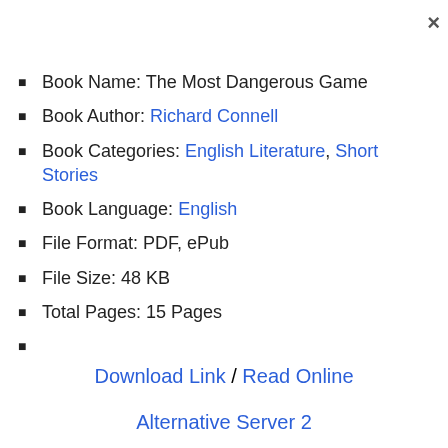Book Name: The Most Dangerous Game
Book Author: Richard Connell
Book Categories: English Literature, Short Stories
Book Language: English
File Format: PDF, ePub
File Size: 48 KB
Total Pages: 15 Pages
Download Link / Read Online
Alternative Server 2